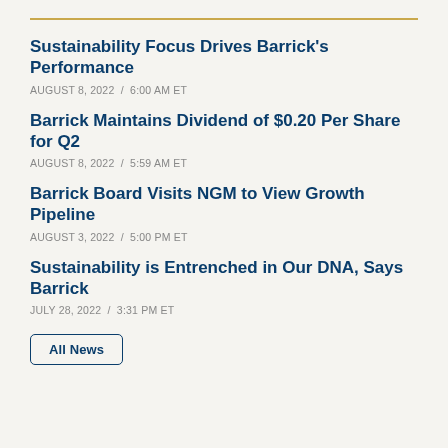Sustainability Focus Drives Barrick's Performance
AUGUST 8, 2022 / 6:00 AM ET
Barrick Maintains Dividend of $0.20 Per Share for Q2
AUGUST 8, 2022 / 5:59 AM ET
Barrick Board Visits NGM to View Growth Pipeline
AUGUST 3, 2022 / 5:00 PM ET
Sustainability is Entrenched in Our DNA, Says Barrick
JULY 28, 2022 / 3:31 PM ET
All News